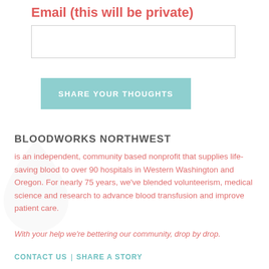Email (this will be private)
[Figure (other): Empty email input text field with light gray border]
[Figure (other): Teal/light green button labeled SHARE YOUR THOUGHTS]
BLOODWORKS NORTHWEST
is an independent, community based nonprofit that supplies life-saving blood to over 90 hospitals in Western Washington and Oregon. For nearly 75 years, we've blended volunteerism, medical science and research to advance blood transfusion and improve patient care.
With your help we're bettering our community, drop by drop.
CONTACT US | SHARE A STORY